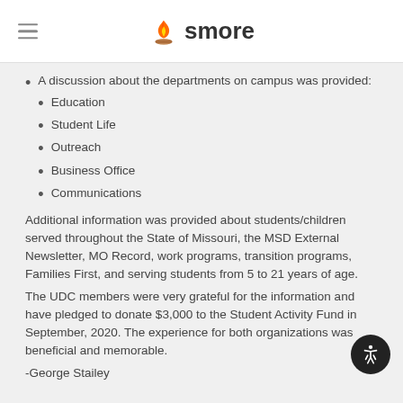smore
A discussion about the departments on campus was provided: Education, Student Life, Outreach, Business Office, Communications
Education
Student Life
Outreach
Business Office
Communications
Additional information was provided about students/children served throughout the State of Missouri, the MSD External Newsletter, MO Record, work programs, transition programs, Families First, and serving students from 5 to 21 years of age.
The UDC members were very grateful for the information and have pledged to donate $3,000 to the Student Activity Fund in September, 2020. The experience for both organizations was beneficial and memorable.
-George Stailey